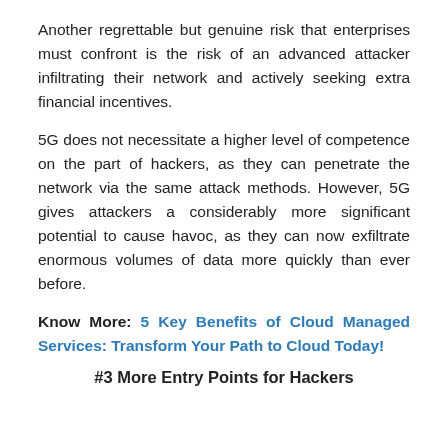Another regrettable but genuine risk that enterprises must confront is the risk of an advanced attacker infiltrating their network and actively seeking extra financial incentives.
5G does not necessitate a higher level of competence on the part of hackers, as they can penetrate the network via the same attack methods. However, 5G gives attackers a considerably more significant potential to cause havoc, as they can now exfiltrate enormous volumes of data more quickly than ever before.
Know More: 5 Key Benefits of Cloud Managed Services: Transform Your Path to Cloud Today!
#3 More Entry Points for Hackers